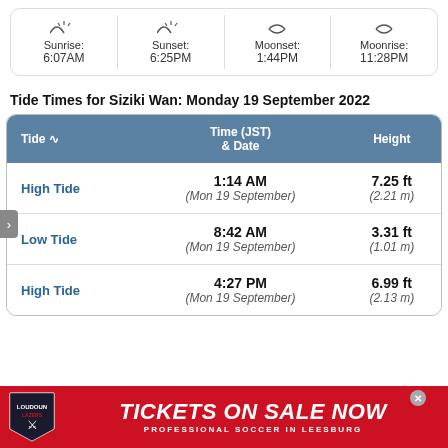|  | Sunrise: | Sunset: | Moonset: | Moonrise: |
| --- | --- | --- | --- | --- |
|  | 6:07AM | 6:25PM | 1:44PM | 11:28PM |
Tide Times for Siziki Wan: Monday 19 September 2022
| Tide | Time (JST) & Date | Height |
| --- | --- | --- |
| High Tide | 1:14 AM
(Mon 19 September) | 7.25 ft
(2.21 m) |
| Low Tide | 8:42 AM
(Mon 19 September) | 3.31 ft
(1.01 m) |
| High Tide | 4:27 PM
(Mon 19 September) | 6.99 ft
(2.13 m) |
[Figure (other): Advertisement banner: Loudoun soccer club logo on red background with text TICKETS ON SALE NOW and PROFESSIONAL SOCCER IN LEESBURG]